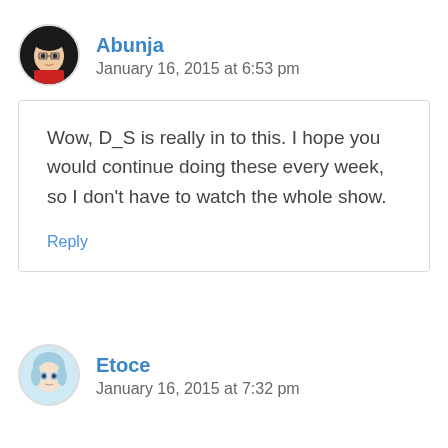Abunja
January 16, 2015 at 6:53 pm
Wow, D_S is really in to this. I hope you would continue doing these every week, so I don’t have to watch the whole show.
Reply
Etoce
January 16, 2015 at 7:32 pm